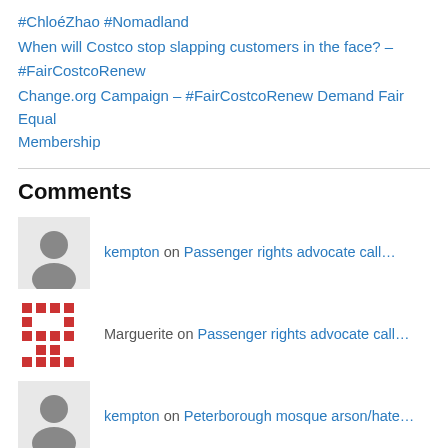#ChloéZhao #Nomadland
When will Costco stop slapping customers in the face? – #FairCostcoRenew
Change.org Campaign – #FairCostcoRenew Demand Fair Equal Membership
Comments
kempton on Passenger rights advocate call…
Marguerite on Passenger rights advocate call…
kempton on Peterborough mosque arson/hate…
duanerousselle2013 on Peterborough mosque arson/hate…
kempton on The Rachel Notley Alberta NDP…
KG on The Rachel Notley Alberta NDP…